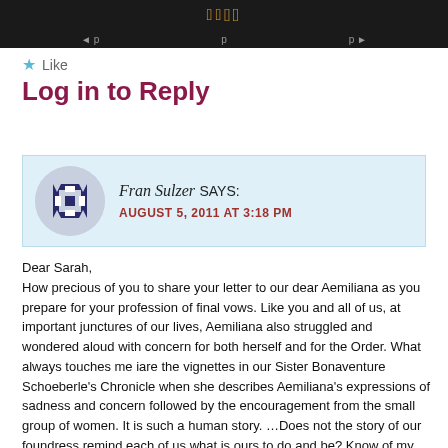Page header navigation bar
★  Like
Log in to Reply
Fran Sulzer SAYS:
AUGUST 5, 2011 AT 3:18 PM
Dear Sarah,
How precious of you to share your letter to our dear Aemiliana as you prepare for your profession of final vows. Like you and all of us, at important junctures of our lives, Aemiliana also struggled and wondered aloud with concern for both herself and for the Order. What always touches me iare the vignettes in our Sister Bonaventure Schoeberle's Chronicle when she describes Aemiliana's expressions of sadness and concern followed by the encouragement from the small group of women. It is such a human story. …Does not the story of our foundress remind each of us what is ours to do and be? Know of my love and support as you